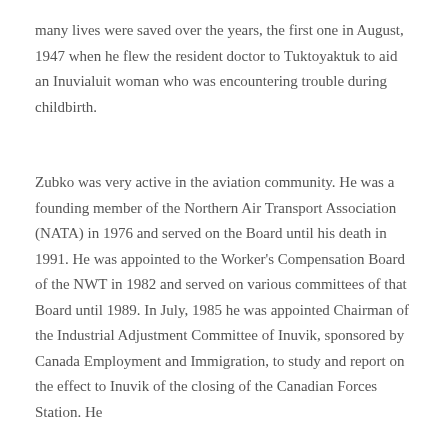many lives were saved over the years, the first one in August, 1947 when he flew the resident doctor to Tuktoyaktuk to aid an Inuvialuit woman who was encountering trouble during childbirth.
Zubko was very active in the aviation community. He was a founding member of the Northern Air Transport Association (NATA) in 1976 and served on the Board until his death in 1991. He was appointed to the Worker's Compensation Board of the NWT in 1982 and served on various committees of that Board until 1989. In July, 1985 he was appointed Chairman of the Industrial Adjustment Committee of Inuvik, sponsored by Canada Employment and Immigration, to study and report on the effect to Inuvik of the closing of the Canadian Forces Station. He